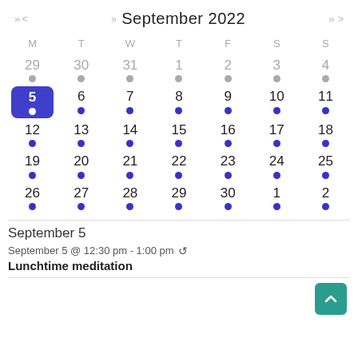September 2022
| M | T | W | T | F | S | S |
| --- | --- | --- | --- | --- | --- | --- |
| 29 | 30 | 31 | 1 | 2 | 3 | 4 |
| 5 | 6 | 7 | 8 | 9 | 10 | 11 |
| 12 | 13 | 14 | 15 | 16 | 17 | 18 |
| 19 | 20 | 21 | 22 | 23 | 24 | 25 |
| 26 | 27 | 28 | 29 | 30 | 1 | 2 |
September 5
September 5 @ 12:30 pm - 1:00 pm
Lunchtime meditation